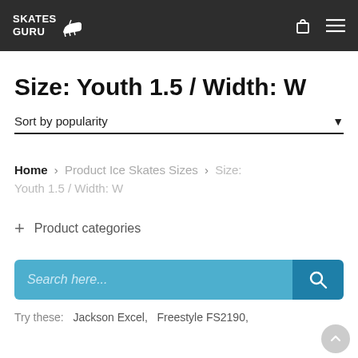SKATES GURU [logo with ice skate icon] | cart icon | menu icon
Size: Youth 1.5 / Width: W
Sort by popularity ▼
Home › Product Ice Skates Sizes › Size: Youth 1.5 / Width: W
+ Product categories
Search here...
Try these:  Jackson Excel,  Freestyle FS2190,